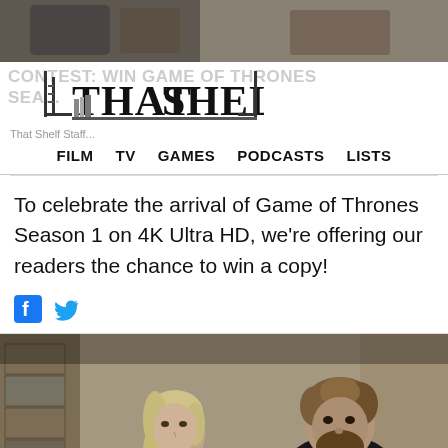[Figure (photo): Top partial image showing dark figures against a light background, appears to be characters from Game of Thrones]
CONTEST: WIN GAME OF THRONES SEASON... | THAT SHELF | FILM TV GAMES PODCASTS LISTS
To celebrate the arrival of Game of Thrones Season 1 on 4K Ultra HD, we're offering our readers the chance to win a copy!
[Figure (photo): Game of Thrones scene with Daenerys Targaryen (blonde woman in dark dress) and Tyrion Lannister standing in a stone building]